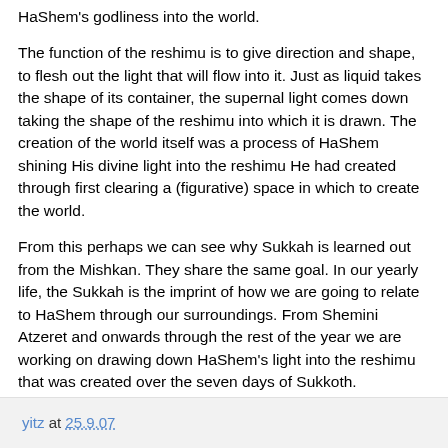HaShem's godliness into the world.
The function of the reshimu is to give direction and shape, to flesh out the light that will flow into it. Just as liquid takes the shape of its container, the supernal light comes down taking the shape of the reshimu into which it is drawn. The creation of the world itself was a process of HaShem shining His divine light into the reshimu He had created through first clearing a (figurative) space in which to create the world.
From this perhaps we can see why Sukkah is learned out from the Mishkan. They share the same goal. In our yearly life, the Sukkah is the imprint of how we are going to relate to HaShem through our surroundings. From Shemini Atzeret and onwards through the rest of the year we are working on drawing down HaShem's light into the reshimu that was created over the seven days of Sukkoth.
yitz at 25.9.07